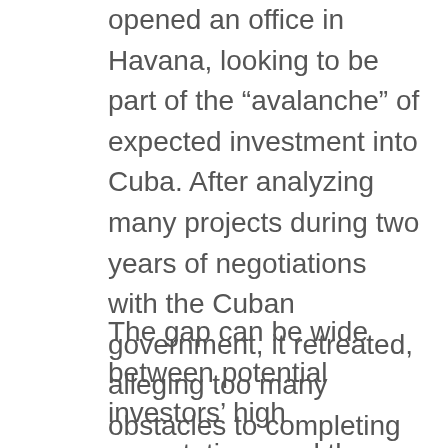opened an office in Havana, looking to be part of the “avalanche” of expected investment into Cuba. After analyzing many projects during two years of negotiations with the Cuban government, it retreated, alleging too many obstacles to completing transactions. A lack of cooperation and constant changes in the investment policy were cited. The Catalan group Guitart, which took options in a large number of hotels, also withdrew from Cuba due to the island’s “increasingly frustrating” political climate.53
The gap can be wide between potential investors’ high expectations and the actual result of due diligence analyses. Vietnam, for example, has a population of approximately 73 million, almost seven times that of Cuba, and has implemented an economic liberalization program which, in depth, consistency and duration, is far-reaching in comparison to Cuba’s.54 (In fact, advocates